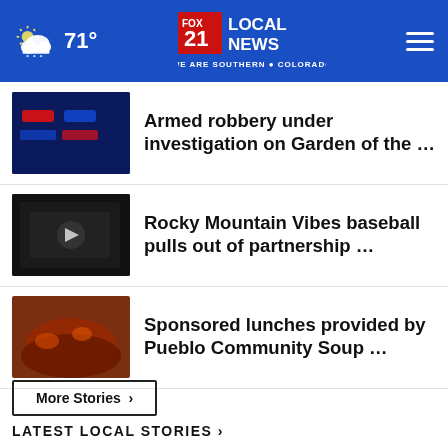71° FOX 21 LOCAL NEWS — WE ARE SOUTHERN COLORADO
Armed robbery under investigation on Garden of the …
Rocky Mountain Vibes baseball pulls out of partnership …
Sponsored lunches provided by Pueblo Community Soup …
More Stories ›
LATEST LOCAL STORIES ›
Rascal Cinema celebrates 35 years of Rocky Mountain …
News • 2 hours ago